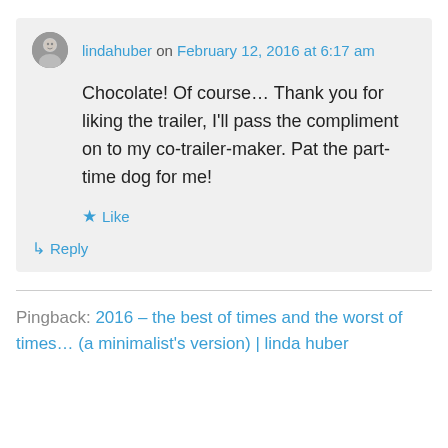lindahuber on February 12, 2016 at 6:17 am
Chocolate! Of course… Thank you for liking the trailer, I'll pass the compliment on to my co-trailer-maker. Pat the part-time dog for me!
★ Like
↳ Reply
Pingback: 2016 – the best of times and the worst of times… (a minimalist's version) | linda huber